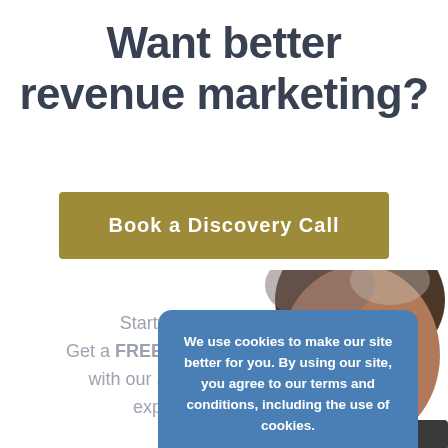Want better revenue marketing?
Book a Discovery Call
[Figure (photo): Partial photo of a man's head and face visible in the lower right portion of the page]
Start today. Get a FREE consultation with our Salesforce experts.
We use cookies to make our site better for you. By using our site, you agree to our terms and conditions, including the use of cookies.
more information
Accept